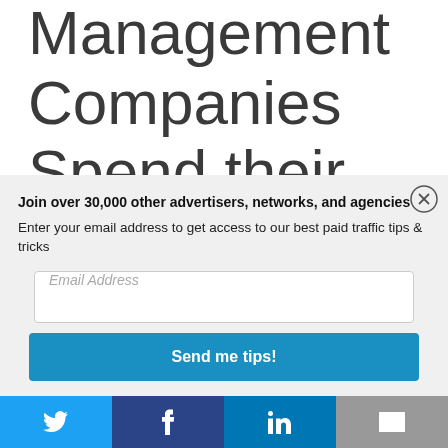Management Companies Spend their
Join over 30,000 other advertisers, networks, and agencies
Enter your email address to get access to our best paid traffic tips & tricks
Email Address
Send me tips!